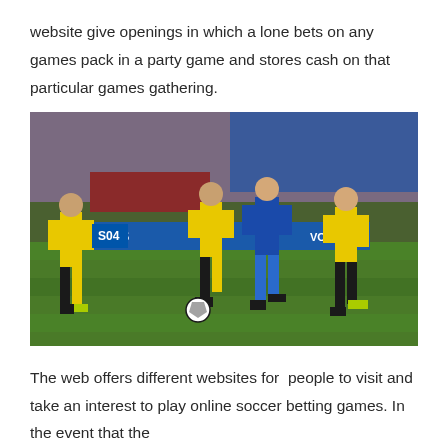website give openings in which a lone bets on any games pack in a party game and stores cash on that particular games gathering.
[Figure (photo): A soccer match being played in a stadium. Players in yellow/black Borussia Dortmund kits compete against a player in blue (Schalke). The ball is on the grass near the players. Stadium is filled with fans.]
The web offers different websites for people to visit and take an interest to play online soccer betting games. In the event that the